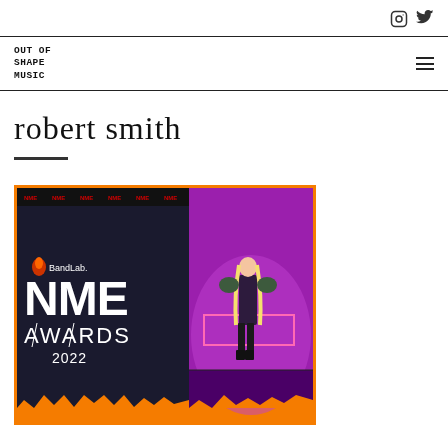OUT OF SHAPE MUSIC (logo) | Instagram and Twitter social icons | hamburger menu
robert smith
[Figure (photo): BandLab NME Awards 2022 promotional image. Left half shows a dark background with 'BandLab. NME AWARDS 2022' text in white. Right half shows a performer on a purple-lit stage. Orange decorative border at bottom. NME logos repeated at top.]